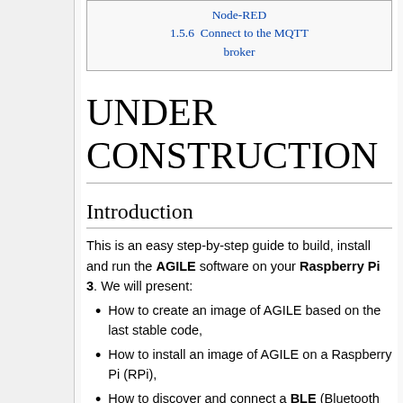| Node-RED |
| 1.5.6  Connect to the MQTT broker |
UNDER CONSTRUCTION
Introduction
This is an easy step-by-step guide to build, install and run the AGILE software on your Raspberry Pi 3. We will present:
How to create an image of AGILE based on the last stable code,
How to install an image of AGILE on a Raspberry Pi (RPi),
How to discover and connect a BLE (Bluetooth Low Energy) device to the AGILE...